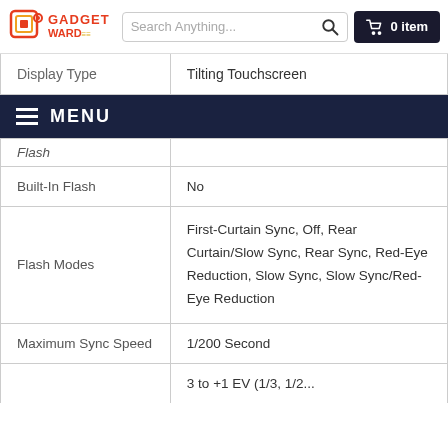GADGET WARD — Search Anything... 0 item
MENU
| Feature | Value |
| --- | --- |
| Display Type | Tilting Touchscreen |
| Flash |  |
| Built-In Flash | No |
| Flash Modes | First-Curtain Sync, Off, Rear Curtain/Slow Sync, Rear Sync, Red-Eye Reduction, Slow Sync, Slow Sync/Red-Eye Reduction |
| Maximum Sync Speed | 1/200 Second |
|  | 3 to +1 EV (1/3, 1/2... |